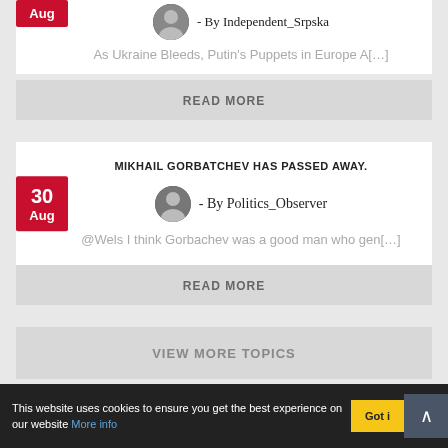- By Independent_Srpska
As Ukraine Bleeds, Putin's Puppets in Europe A[…]
READ MORE
MIKHAIL GORBATCHEV HAS PASSED AWAY.
- By Politics_Observer
@Wels I think Gorbachev was a good man who gen[…]
READ MORE
VIEW MORE TOPICS
This website uses cookies to ensure you get the best experience on our website More info